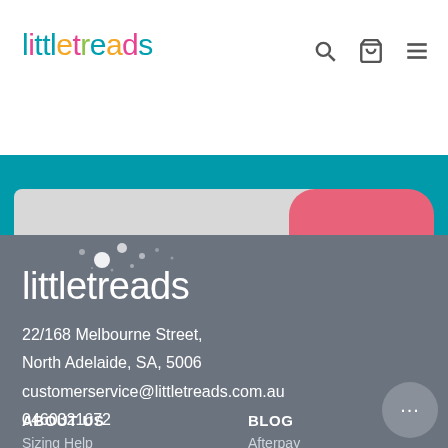littletreads
[Figure (screenshot): Partial view of a teal band with two partially visible buttons: a light grey rounded button on the left and a coral/pink rounded button on the right]
[Figure (logo): littletreads logo in white on dark grey footer background]
22/168 Melbourne Street,
North Adelaide, SA, 5006
customerservice@littletreads.com.au
0460321672
ABOUT US
BLOG
Sizing Help
Afterpay